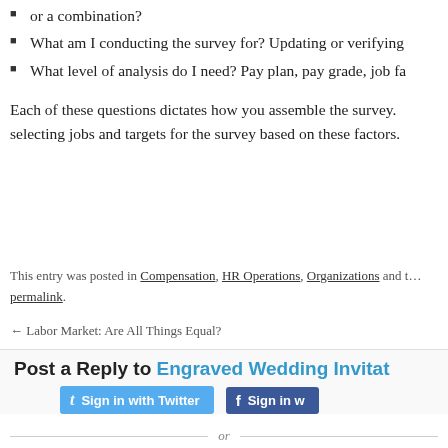or a combination?
What am I conducting the survey for? Updating or verifying
What level of analysis do I need? Pay plan, pay grade, job fa
Each of these questions dictates how you assemble the survey. selecting jobs and targets for the survey based on these factors.
This entry was posted in Compensation, HR Operations, Organizations and t… permalink.
← Labor Market: Are All Things Equal?
Post a Reply to Engraved Wedding Invitat
Sign in with Twitter  Sign in w  or